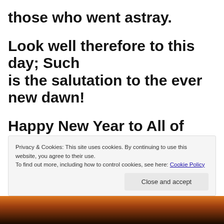those who went astray.
Look well therefore to this day; Such
is the salutation to the ever new dawn!
Happy New Year to All of You!
Privacy & Cookies: This site uses cookies. By continuing to use this website, you agree to their use.
To find out more, including how to control cookies, see here: Cookie Policy
[Figure (photo): Partial view of a sunset or sunrise scene at the bottom of the page]